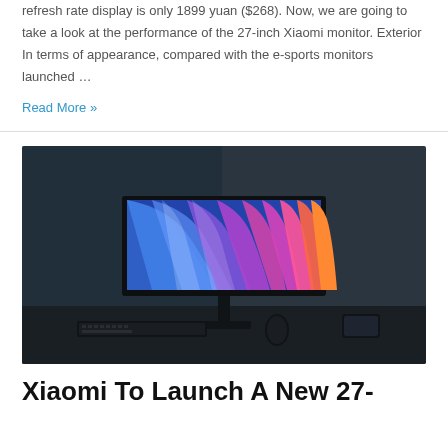refresh rate display is only 1899 yuan ($268). Now, we are going to take a look at the performance of the 27-inch Xiaomi monitor. Exterior In terms of appearance, compared with the e-sports monitors launched …
Read More »
[Figure (photo): A Xiaomi monitor on a desk displaying a colorful abstract wallpaper with blue, purple, pink and orange wave-like streaks. A keyboard and mouse are visible in the foreground.]
Xiaomi To Launch A New 27-